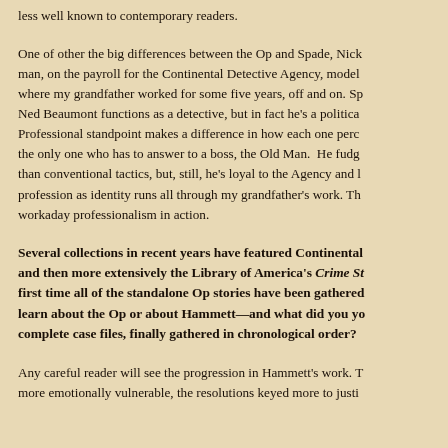less well known to contemporary readers.
One of other the big differences between the Op and Spade, Nick man, on the payroll for the Continental Detective Agency, model where my grandfather worked for some five years, off and on. Sp Ned Beaumont functions as a detective, but in fact he's a politica Professional standpoint makes a difference in how each one perc the only one who has to answer to a boss, the Old Man. He fudg than conventional tactics, but, still, he's loyal to the Agency and profession as identity runs all through my grandfather's work. Th workaday professionalism in action.
Several collections in recent years have featured Continental and then more extensively the Library of America's Crime St first time all of the standalone Op stories have been gathered learn about the Op or about Hammett—and what did you yo complete case files, finally gathered in chronological order?
Any careful reader will see the progression in Hammett's work. T more emotionally vulnerable, the resolutions keyed more to justi